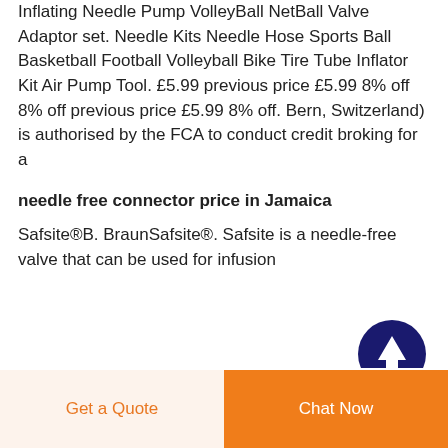Inflating Needle Pump VolleyBall NetBall Valve Adaptor set. Needle Kits Needle Hose Sports Ball Basketball Football Volleyball Bike Tire Tube Inflator Kit Air Pump Tool. £5.99 previous price £5.99 8% off 8% off previous price £5.99 8% off. Bern, Switzerland) is authorised by the FCA to conduct credit broking for a
[Figure (illustration): Dark navy blue circular button with an upward arrow icon (scroll to top button)]
needle free connector price in Jamaica
Safsite®B. BraunSafsite®. Safsite is a needle-free valve that can be used for infusion
Get a Quote
Chat Now